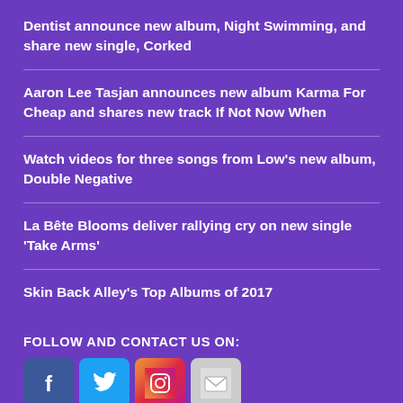Dentist announce new album, Night Swimming, and share new single, Corked
Aaron Lee Tasjan announces new album Karma For Cheap and shares new track If Not Now When
Watch videos for three songs from Low’s new album, Double Negative
La Bête Blooms deliver rallying cry on new single ‘Take Arms’
Skin Back Alley’s Top Albums of 2017
FOLLOW AND CONTACT US ON:
[Figure (illustration): Four social media icons: Facebook (blue), Twitter (light blue), Instagram (gradient), Email (grey/white)]